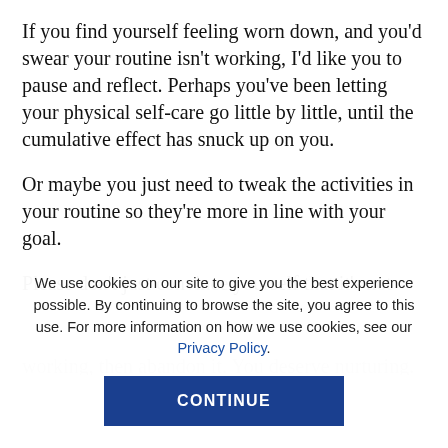If you find yourself feeling worn down, and you'd swear your routine isn't working, I'd like you to pause and reflect. Perhaps you've been letting your physical self-care go little by little, until the cumulative effect has snuck up on you.
Or maybe you just need to tweak the activities in your routine so they're more in line with your goal.
Please don't just convince yourself that it's not working, then abandon it. You deserve nurturing. You...
We use cookies on our site to give you the best experience possible. By continuing to browse the site, you agree to this use. For more information on how we use cookies, see our Privacy Policy.
CONTINUE